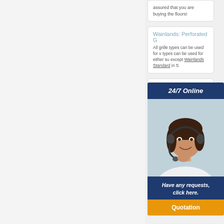assured that you are buying the floors!
Wainlands: Perforated G
All grille types can be used for v types can be used for either su except Wainlands Standard in S
Linear
Our line solution surfaces
Floor R
Welcome to Floor Register R air vents.Select from many mat Find floor registers in many dif
[Figure (photo): Customer service agent woman with headset smiling, with 24/7 Online bar, Have any requests click here text, and Quotation button]